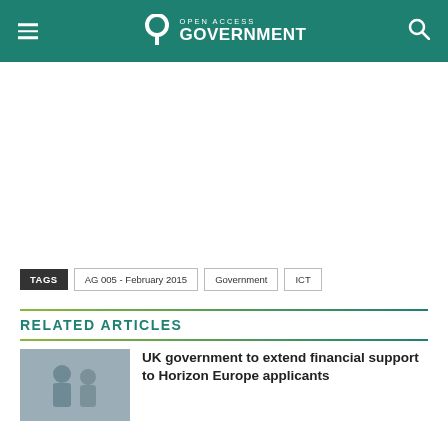OPEN ACCESS GOVERNMENT
TAGS: AG 005 - February 2015 | Government | ICT
RELATED ARTICLES
UK government to extend financial support to Horizon Europe applicants